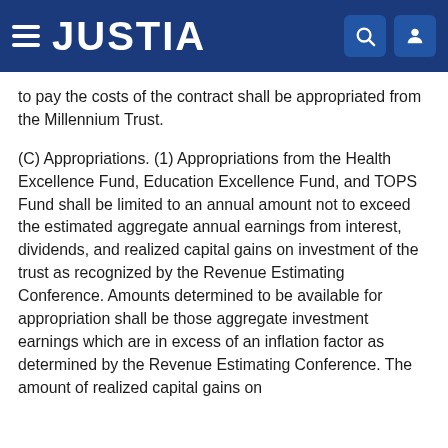JUSTIA
to pay the costs of the contract shall be appropriated from the Millennium Trust.
(C) Appropriations. (1) Appropriations from the Health Excellence Fund, Education Excellence Fund, and TOPS Fund shall be limited to an annual amount not to exceed the estimated aggregate annual earnings from interest, dividends, and realized capital gains on investment of the trust as recognized by the Revenue Estimating Conference. Amounts determined to be available for appropriation shall be those aggregate investment earnings which are in excess of an inflation factor as determined by the Revenue Estimating Conference. The amount of realized capital gains on